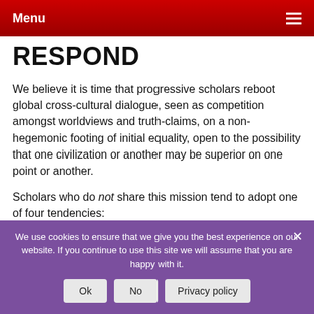Menu
RESPOND
We believe it is time that progressive scholars reboot global cross-cultural dialogue, seen as competition amongst worldviews and truth-claims, on a non-hegemonic footing of initial equality, open to the possibility that one civilization or another may be superior on one point or another.
Scholars who do not share this mission tend to adopt one of four tendencies:
1. Triumphalism: These scholars state baldly
We use cookies to ensure that we give you the best experience on our website. If you continue to use this site we will assume that you are happy with it.